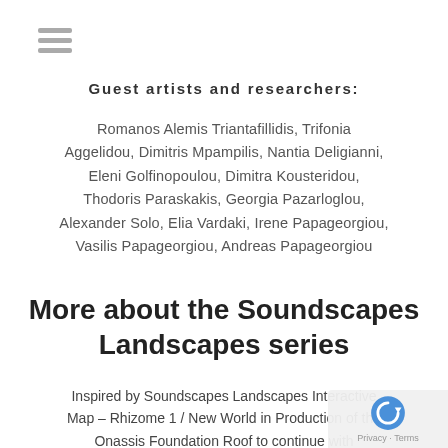Guest artists and researchers:
Romanos Alemis Triantafillidis, Trifonia Aggelidou, Dimitris Mpampilis, Nantia Deligianni, Eleni Golfinopoulou, Dimitra Kousteridou, Thodoris Paraskakis, Georgia Pazarloglou, Alexander Solo, Elia Vardaki, Irene Papageorgiou, Vasilis Papageorgiou, Andreas Papageorgiou
More about the Soundscapes Landscapes series
Inspired by Soundscapes Landscapes Interactive Map – Rhizome 1 / New World in Production of the Onassis Foundation Roof to continue with Soundscapes Landscapes / City Above-Life Below-Roof II-Gazi, Kerameikos, Metaxourgio (Production: Roof The Onassis Foundation) Soundscapes Landscapes / Groom III, Sellasia